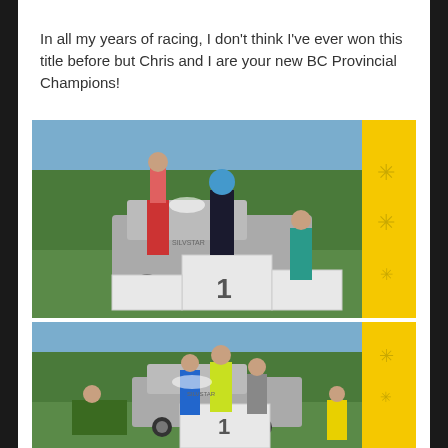In all my years of racing, I don't think I've ever won this title before but Chris and I are your new BC Provincial Champions!
[Figure (photo): Outdoor podium celebration photo showing three athletes on a numbered podium (with '1' visible), spraying champagne. A silver pickup truck is visible in the background along with pine trees and blue sky. A yellow inflatable pillar with snowflake decorations is on the right side.]
[Figure (photo): Second outdoor podium photo showing multiple athletes on and around the podium, with one person spraying champagne. Same yellow inflatable pillar visible on the right, pine trees and blue sky in background, silver pickup truck visible.]